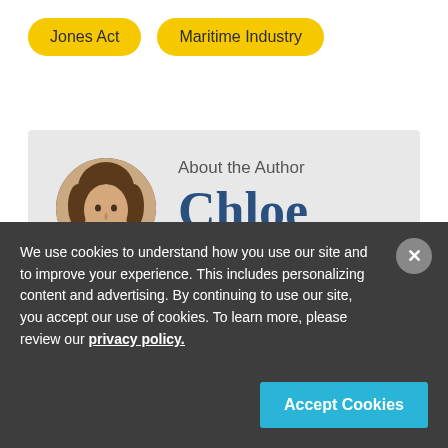Jones Act
Maritime Industry
About the Author
Chloe Skupnick
[Figure (photo): Circular headshot of Chloe Skupnick, a woman with brown hair]
We use cookies to understand how you use our site and to improve your experience. This includes personalizing content and advertising. By continuing to use our site, you accept our use of cookies. To learn more, please review our privacy policy.
Accept Cookies